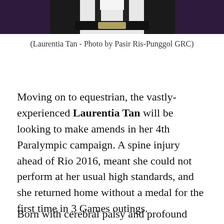[Figure (photo): Bottom portion of a photo showing a person wearing a white shirt with a black belt/suspenders against a dark purple background.]
(Laurentia Tan - Photo by Pasir Ris-Punggol GRC)
Moving on to equestrian, the vastly-experienced Laurentia Tan will be looking to make amends in her 4th Paralympic campaign. A spine injury ahead of Rio 2016, meant she could not perform at her usual high standards, and she returned home without a medal for the first time in 3 Games outings.
Born with cerebral palsy and profound